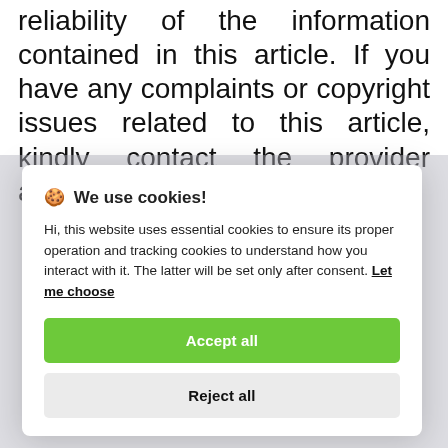reliability of the information contained in this article. If you have any complaints or copyright issues related to this article, kindly contact the provider above.
🍪 We use cookies!

Hi, this website uses essential cookies to ensure its proper operation and tracking cookies to understand how you interact with it. The latter will be set only after consent. Let me choose
Accept all
Reject all